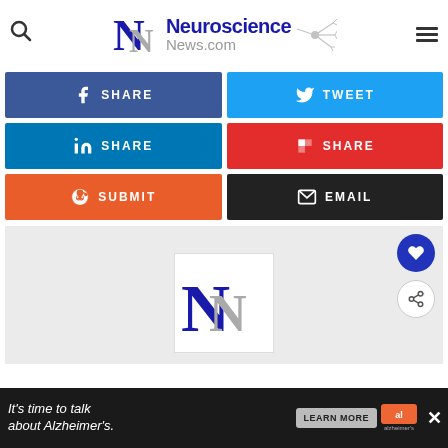[Figure (logo): Neuroscience News.com logo with NN monogram and brain neuron illustration]
[Figure (infographic): Social sharing buttons: Facebook Share, Tweet, LinkedIn Share, Flipboard Share, Reddit Submit, Email]
[Figure (logo): Neuroscience News NN logo large on light gray background]
[Figure (screenshot): Advertisement banner: It's time to talk about Alzheimer's. Learn More. Alzheimer's Association logo. With close button.]